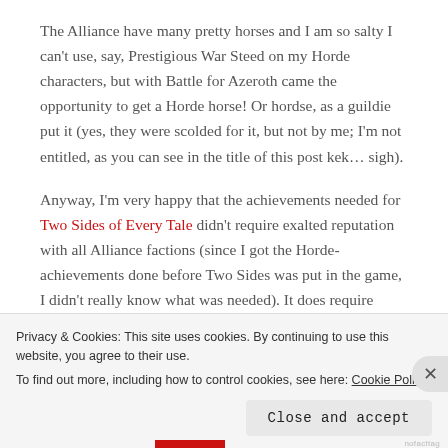The Alliance have many pretty horses and I am so salty I can't use, say, Prestigious War Steed on my Horde characters, but with Battle for Azeroth came the opportunity to get a Horde horse! Or hordse, as a guildie put it (yes, they were scolded for it, but not by me; I'm not entitled, as you can see in the title of this post kek… sigh).
Anyway, I'm very happy that the achievements needed for Two Sides of Every Tale didn't require exalted reputation with all Alliance factions (since I got the Horde-achievements done before Two Sides was put in the game, I didn't really know what was needed). It does require certain reputation points
Privacy & Cookies: This site uses cookies. By continuing to use this website, you agree to their use.
To find out more, including how to control cookies, see here: Cookie Policy
Close and accept